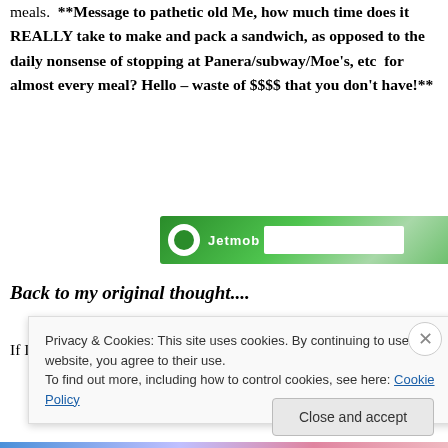meals.  **Message to pathetic old Me, how much time does it REALLY take to make and pack a sandwich, as opposed to the daily nonsense of stopping at Panera/subway/Moe's, etc  for almost every meal? Hello – waste of $$$$ that you don't have!**
[Figure (other): Advertisements banner with green gradient advertisement banner showing a circular logo and white input field]
Back to my original thought....
If I didn't pay someone to basically teach me what I
Privacy & Cookies: This site uses cookies. By continuing to use this website, you agree to their use.
To find out more, including how to control cookies, see here: Cookie Policy
Close and accept